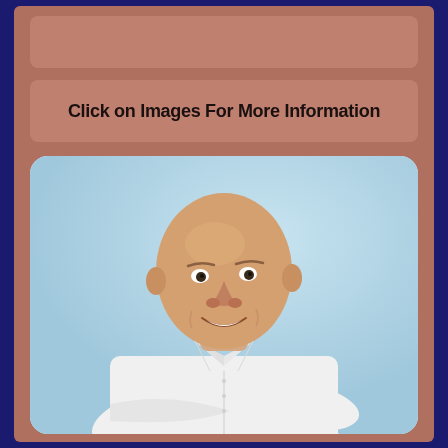Click on Images For More Information
[Figure (photo): Professional headshot of a bald middle-aged man smiling, wearing a white dress shirt, arms crossed, against a light blue background]